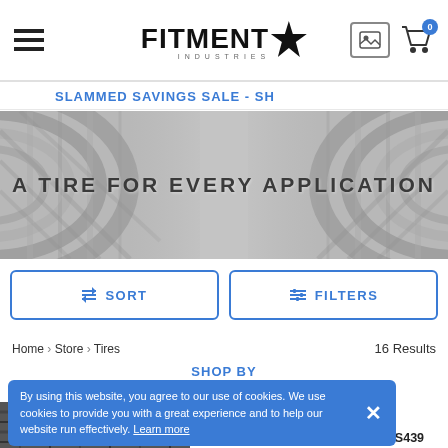Fitment Industries - Navigation header with hamburger menu, logo, image gallery icon, and cart (0 items)
SLAMMED SAVINGS SALE - SH
[Figure (photo): Hero banner with tire tread images on left and right sides against gray background, text reads 'A TIRE FOR EVERY APPLICATION']
↕ SORT
⫼ FILTERS
Home > Store > Tires    16 Results
SHOP BY
By using this website, you agree to our use of cookies. We use cookies to provide you with a great experience and to help our website run effectively. Learn more
Need Help Getting Started? Call Our Experts at 920-363-6060
FALKEN EURO WINTER HS439 235/55R19
[Figure (photo): Partial view of a Falken tire tread at the bottom of the page]